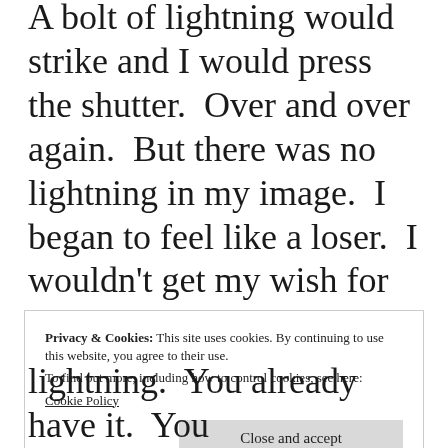A bolt of lightning would strike and I would press the shutter.  Over and over again.  But there was no lightning in my image.  I began to feel like a loser.  I wouldn't get my wish for an image of lightning.  Damn.
Privacy & Cookies: This site uses cookies. By continuing to use this website, you agree to their use.
To find out more, including how to control cookies, see here:
Cookie Policy
Close and accept
lightning.  You already have it.  You